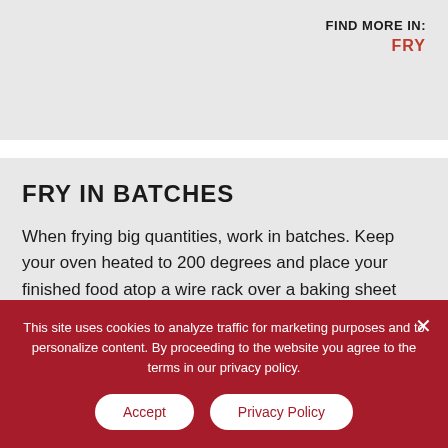FIND MORE IN:
FRY
FRY IN BATCHES
When frying big quantities, work in batches. Keep your oven heated to 200 degrees and place your finished food atop a wire rack over a baking sheet and keep warm in preheated oven while finishing the rest of the fry.
This site uses cookies to analyze traffic for marketing purposes and to personalize content. By proceeding to the website you agree to the terms in our privacy policy.
Accept
Privacy Policy